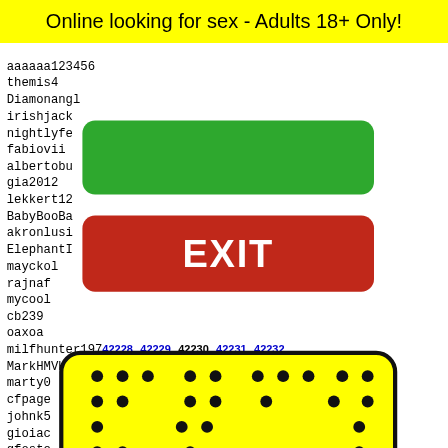Online looking for sex - Adults 18+ Only!
aaaaaa123456
themis4
Diamonangl
irishjack
nightlyfe
fabiovii
albertobu
gia2012
lekkert12
BabyBooBa
akronlusi
ElephantI
mayckol
rajnaf
mycool
cb239
oaxoa
milfhunter197
MarkHMVHARLOW
marty0
cfpage
johnk5
gioiac
gfoste
manhat
[Figure (other): Green button (no text)]
[Figure (other): Red EXIT button]
42228 42229 42230 42231 42232
[Figure (illustration): Yellow rounded rectangle with black dots pattern and character image at bottom]